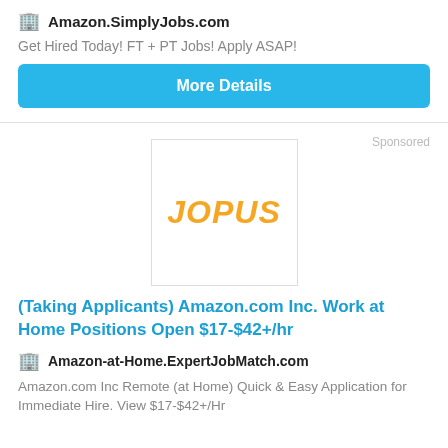Amazon.SimplyJobs.com
Get Hired Today! FT + PT Jobs! Apply ASAP!
More Details
Sponsored
[Figure (logo): JOPUS logo in orange italic bold text inside a white square with border]
(Taking Applicants) Amazon.com Inc. Work at Home Positions Open $17-$42+/hr
Amazon-at-Home.ExpertJobMatch.com
Amazon.com Inc Remote (at Home) Quick & Easy Application for Immediate Hire. View $17-$42+/Hr